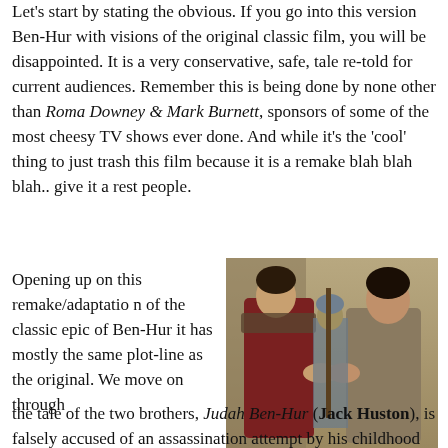Let's start by stating the obvious. If you go into this version Ben-Hur with visions of the original classic film, you will be disappointed. It is a very conservative, safe, tale re-told for current audiences. Remember this is being done by none other than Roma Downey & Mark Burnett, sponsors of some of the most cheesy TV shows ever done. And while it's the 'cool' thing to just trash this film because it is a remake blah blah blah.. give it a rest people.
Opening up on this remake/adaptation of the classic epic of Ben-Hur it has mostly the same plot-line as the original. We move on through the tale of the two brothers, Judah Ben-Hur (Jack Huston), is falsely accused of an assassination attempt by his childhood
[Figure (photo): Movie still from Ben-Hur (2016) showing two men in ancient costume shaking hands, with a Roman soldier visible in the background.]